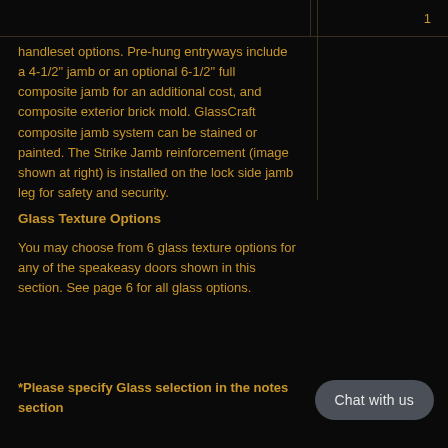handleset options. Pre-hung entryways include a 4-1/2" jamb or an optional 6-1/2" full composite jamb for an additional cost, and composite exterior brick mold. GlassCraft composite jamb system can be stained or painted. The Strike Jamb reinforcement (image shown at right) is installed on the lock side jamb leg for safety and security.
Glass Texture Options
You may choose from 6 glass texture options for any of the speakeasy doors shown in this section. See page 6 for all glass options.
*Please specify Glass selection in the notes section